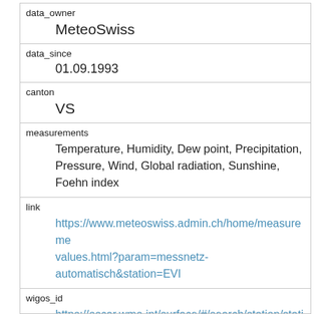| data_owner | MeteoSwiss |
| data_since | 01.09.1993 |
| canton | VS |
| measurements | Temperature, Humidity, Dew point, Precipitation, Pressure, Wind, Global radiation, Sunshine, Foehn index |
| link | https://www.meteoswiss.admin.ch/home/measureme
values.html?param=messnetz-automatisch&station=EVI |
| wigos_id | https://oscar.wmo.int/surface/#/search/station/station
20000-0-06715 |
| latest_values | https://api.existenz.ch/apiv1/smn/latest?
locations=EVI |